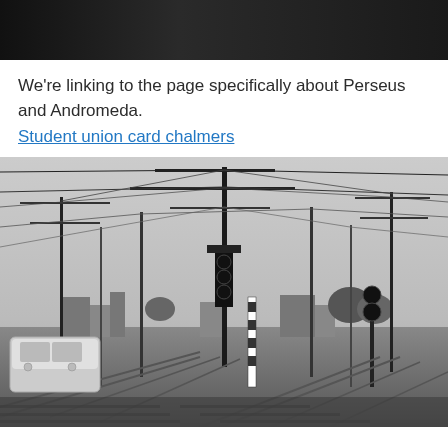[Figure (photo): Dark/black image strip at the top of the page, appears to be a cropped dark photograph.]
We're linking to the page specifically about Perseus and Andromeda.
Student union card chalmers
[Figure (photo): Black and white photograph of a railway station with numerous overhead power lines, poles, signals, multiple tracks, and a white high-speed train visible on the left side. City buildings and trees visible in the background.]